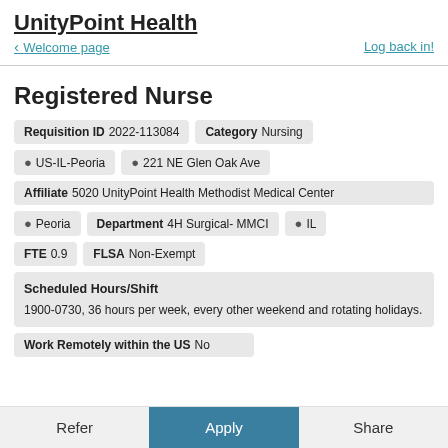UnityPoint Health
Welcome page | Log back in!
Registered Nurse
Requisition ID  2022-113084   Category  Nursing
US-IL-Peoria   221 NE Glen Oak Ave
Affiliate  5020 UnityPoint Health Methodist Medical Center
Peoria   Department  4H Surgical- MMCI   IL
FTE  0.9   FLSA  Non-Exempt
Scheduled Hours/Shift
1900-0730, 36 hours per week, every other weekend and rotating holidays.
Work Remotely within the US  No